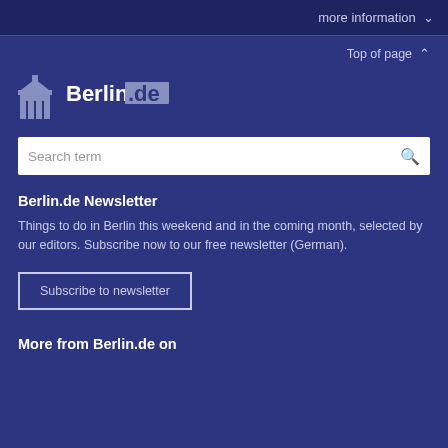more information ▾
Top of page ▲
[Figure (logo): Berlin.de logo with Brandenburg Gate columns icon and 'Berlin.de' text]
Search term
Berlin.de Newsletter
Things to do in Berlin this weekend and in the coming month, selected by our editors. Subscribe now to our free newsletter (German).
Subscribe to newsletter
More from Berlin.de on